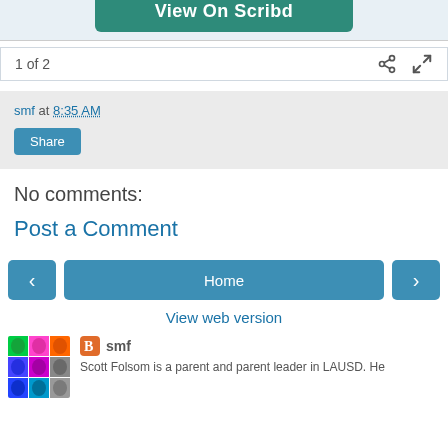[Figure (screenshot): Partial 'View On Scribd' button at top of page]
1 of 2
smf at 8:35 AM
Share
No comments:
Post a Comment
Home
View web version
smf
Scott Folsom is a parent and parent leader in LAUSD. He